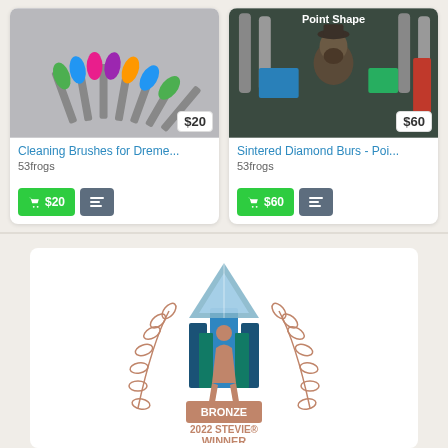[Figure (photo): Product card: Cleaning brushes for Dremel with colorful tips, price $20, seller 53frogs]
[Figure (photo): Product card: Sintered Diamond Burs - Point Shape, price $60, seller 53frogs, showing a bearded man standing in front of burs]
[Figure (logo): Bronze 2022 Stevie Winner award logo with laurel wreath and trophy figure]